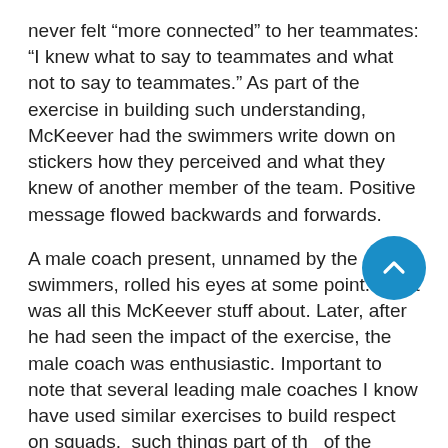never felt “more connected” to her teammates: “I knew what to say to teammates and what not to say to teammates.” As part of the exercise in building such understanding, McKeever had the swimmers write down on stickers how they perceived and what they knew of another member of the team. Positive message flowed backwards and forwards.
A male coach present, unnamed by the swimmers, rolled his eyes at some point. What was all this McKeever stuff about. Later, after he had seen the impact of the exercise, the male coach was enthusiastic. Important to note that several leading male coaches I know have used similar exercises to build respect on squads,  such things part of the of the impact of the early years of Bill Sweetenham in Britain, for example.
Even so, there are places that men can go but may not visit, et it As Milt Nelson, along with the CA